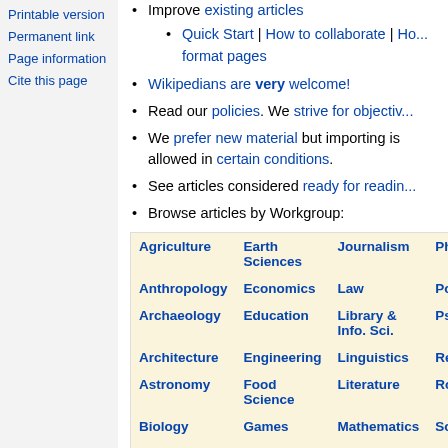Printable version
Permanent link
Page information
Cite this page
Improve existing articles
Quick Start | How to collaborate | How to format pages
Wikipedians are very welcome!
Read our policies. We strive for objectivity
We prefer new material but importing is allowed in certain conditions.
See articles considered ready for reading
Browse articles by Workgroup:
| Agriculture | Earth Sciences | Journalism | Physic... |
| Anthropology | Economics | Law | Politics... |
| Archaeology | Education | Library & Info. Sci. | Psyche... |
| Architecture | Engineering | Linguistics | Religio... |
| Astronomy | Food Science | Literature | Roboti... |
| Biology | Games | Mathematics | Sociol... |
| Business | Geography | Media | Sports |
| Chemist... | Health | Milit... | T... |